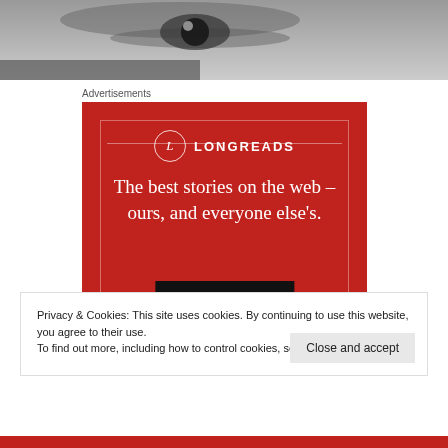[Figure (photo): Black and white close-up photo of a person's face/eye, cropped at top of page]
Advertisements
[Figure (infographic): Longreads advertisement on red background. Logo with circle L, LONGREADS text, decorative lines. Headline: The best stories on the web – ours, and everyone else's. Black button: Start reading]
Privacy & Cookies: This site uses cookies. By continuing to use this website, you agree to their use.
To find out more, including how to control cookies, see here: Cookie Policy
Close and accept